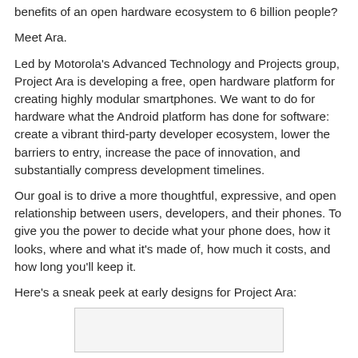benefits of an open hardware ecosystem to 6 billion people?
Meet Ara.
Led by Motorola's Advanced Technology and Projects group, Project Ara is developing a free, open hardware platform for creating highly modular smartphones. We want to do for hardware what the Android platform has done for software: create a vibrant third-party developer ecosystem, lower the barriers to entry, increase the pace of innovation, and substantially compress development timelines.
Our goal is to drive a more thoughtful, expressive, and open relationship between users, developers, and their phones. To give you the power to decide what your phone does, how it looks, where and what it's made of, how much it costs, and how long you'll keep it.
Here's a sneak peek at early designs for Project Ara:
[Figure (photo): Early design image for Project Ara modular smartphone, partially visible at bottom of page]